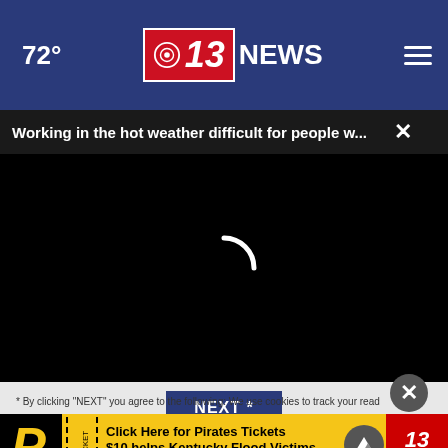72° | CBS 13 NEWS | menu
Working in the hot weather difficult for people w... ×
[Figure (screenshot): Black video player area with loading spinner]
NEXT *
* By clicking "NEXT" you agree to the following: We use cookies to track your... read...
[Figure (advertisement): Pittsburgh Pirates ticket ad - Click Here for Pirates Tickets $10 helps Kentucky Flood Victims Available 9/2,3,4 - CBS 13 WOWK]